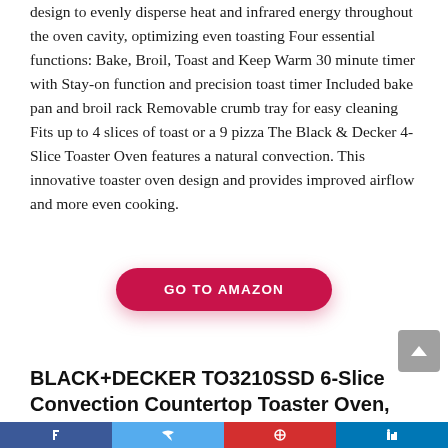design to evenly disperse heat and infrared energy throughout the oven cavity, optimizing even toasting Four essential functions: Bake, Broil, Toast and Keep Warm 30 minute timer with Stay-on function and precision toast timer Included bake pan and broil rack Removable crumb tray for easy cleaning Fits up to 4 slices of toast or a 9 pizza The Black & Decker 4-Slice Toaster Oven features a natural convection. This innovative toaster oven design and provides improved airflow and more even cooking.
[Figure (other): GO TO AMAZON button — a red pill-shaped button with white uppercase bold text]
BLACK+DECKER TO3210SSD 6-Slice Convection Countertop Toaster Oven, Silver
Social share bar with Facebook, Twitter, Pinterest, LinkedIn icons